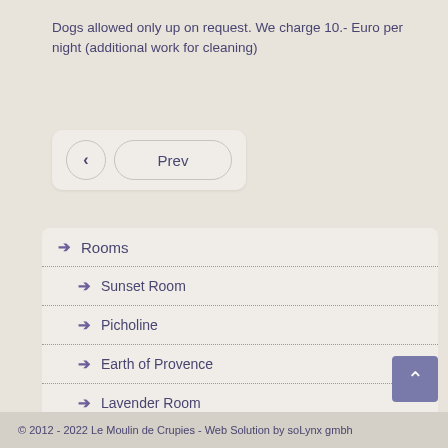Dogs allowed only up on request. We charge 10.- Euro per night (additional work for cleaning)
< Prev
→ Rooms
→ Sunset Room
→ Picholine
→ Earth of Provence
→ Lavender Room
→ Term of Cherry
→ Meals
→ Room Rates
© 2012 - 2022 Le Moulin de Crupies - Web Solution by soLynx gmbh